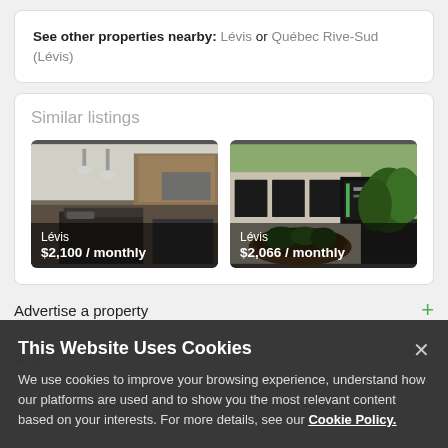See other properties nearby: Lévis or Québec Rive-Sud (Lévis)
Similar listings
[Figure (photo): Interior kitchen photo for Lévis listing at $2,100/monthly]
[Figure (photo): Exterior building photo for Lévis listing at $2,066/monthly]
Advertise a property
This Website Uses Cookies
We use cookies to improve your browsing experience, understand how our platforms are used and to show you the most relevant content based on your interests. For more details, see our Cookie Policy.